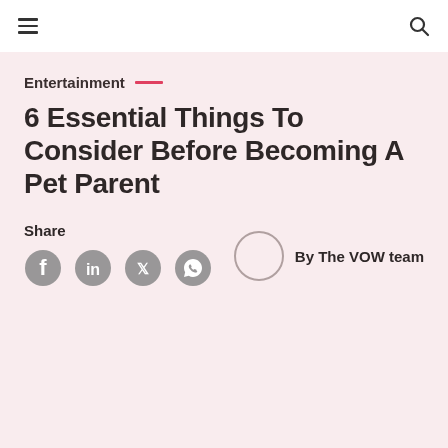Navigation bar with hamburger menu and search icon
Entertainment —
6 Essential Things To Consider Before Becoming A Pet Parent
Share
[Figure (infographic): Social share icons: Facebook, LinkedIn, Twitter, WhatsApp]
By The VOW team